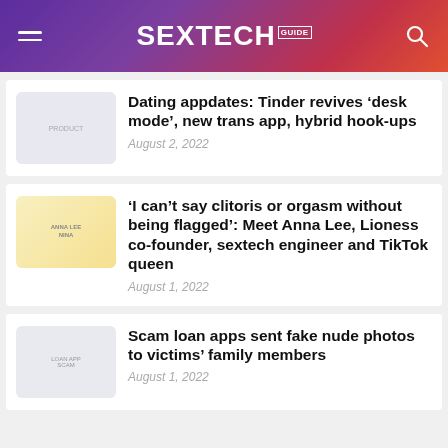SEXTECH GUIDE
Dating appdates: Tinder revives ‘desk mode’, new trans app, hybrid hook-ups
August 2, 2022
‘I can’t say clitoris or orgasm without being flagged’: Meet Anna Lee, Lioness co-founder, sextech engineer and TikTok queen
August 1, 2022
Scam loan apps sent fake nude photos to victims’ family members
August 1, 2022